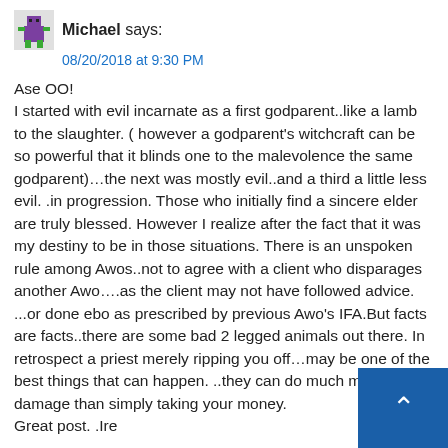Michael says: 08/20/2018 at 9:30 PM
Ase OO!
I started with evil incarnate as a first godparent..like a lamb to the slaughter. ( however a godparent's witchcraft can be so powerful that it blinds one to the malevolence the same godparent)…the next was mostly evil..and a third a little less evil. .in progression. Those who initially find a sincere elder are truly blessed. However I realize after the fact that it was my destiny to be in those situations. There is an unspoken rule among Awos..not to agree with a client who disparages another Awo….as the client may not have followed advice. ...or done ebo as prescribed by previous Awo's IFA.But facts are facts..there are some bad 2 legged animals out there. In retrospect a priest merely ripping you off…may be one of the best things that can happen. ..they can do much much more damage than simply taking your money.
Great post. .Ire